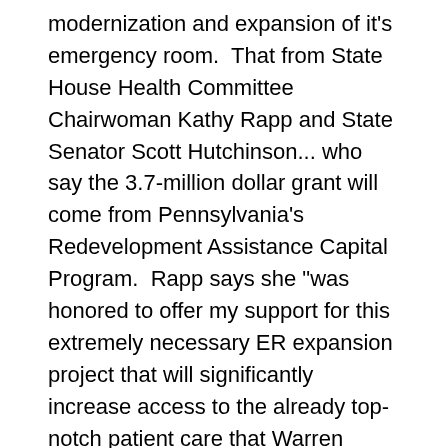modernization and expansion of it's emergency room.  That from State House Health Committee Chairwoman Kathy Rapp and State Senator Scott Hutchinson... who say the 3.7-million dollar grant will come from Pennsylvania's Redevelopment Assistance Capital Program.  Rapp says she "was honored to offer my support for this extremely necessary ER expansion project that will significantly increase access to the already top-notch patient care that Warren General Hospital continues to deliver to the rural communities I represent."  Specifically... the Warren Republican says the project will improve patient care by renovating and moving the MedSurg unit closer to the ER.  The ER will also be expanded to include larger treatment spaces that are equipped to accommodate behavioral health patients and patients with airborne infectious disease.
Two Rochester men plead guilty to discharing chemical spray during attempted insurrection on Jan. 6